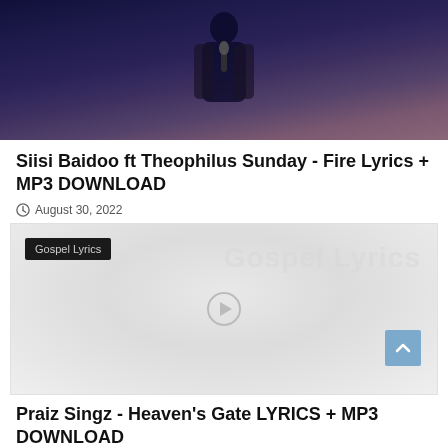[Figure (photo): Dark blue-toned photo of a person (likely a performer) standing on stage holding a microphone, wearing a jacket]
Siisi Baidoo ft Theophilus Sunday - Fire Lyrics + MP3 DOWNLOAD
August 30, 2022
[Figure (photo): Placeholder/loading image with a Gospel Lyrics tag in the top-left corner and a faint play button circle in the center]
Praiz Singz - Heaven's Gate LYRICS + MP3 DOWNLOAD
August 29, 2022